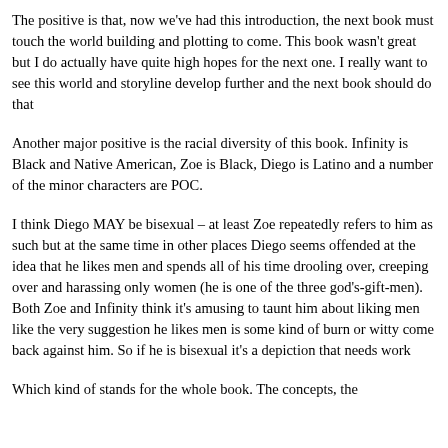The positive is that, now we've had this introduction, the next book must touch the world building and plotting to come. This book wasn't great but I do actually have quite high hopes for the next one. I really want to see this world and storyline develop further and the next book should do that
Another major positive is the racial diversity of this book. Infinity is Black and Native American, Zoe is Black, Diego is Latino and a number of the minor characters are POC.
I think Diego MAY be bisexual – at least Zoe repeatedly refers to him as such but at the same time in other places Diego seems offended at the idea that he likes men and spends all of his time drooling over, creeping over and harassing only women (he is one of the three god's-gift-men). Both Zoe and Infinity think it's amusing to taunt him about liking men like the very suggestion he likes men is some kind of burn or witty come back against him. So if he is bisexual it's a depiction that needs work
Which kind of stands for the whole book. The concepts, the